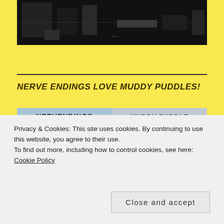[Figure (photo): Black and white photograph showing a dark interior scene, possibly a vehicle or machinery interior]
NERVE ENDINGS LOVE MUDDY PUDDLES!
[Figure (photo): Two album covers side by side: NERVENDINGS on the left with a rural road scene, MUDDY PUDDLE on the right with a similar landscape]
Privacy & Cookies: This site uses cookies. By continuing to use this website, you agree to their use.
To find out more, including how to control cookies, see here: Cookie Policy
Close and accept